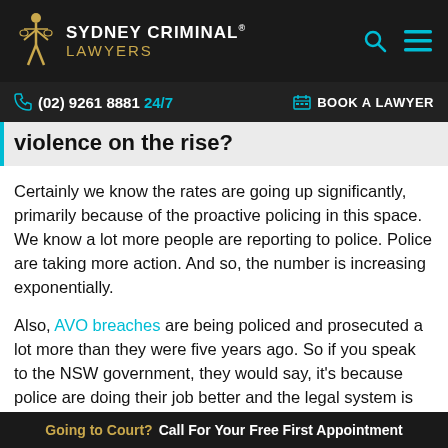SYDNEY CRIMINAL® LAWYERS
(02) 9261 8881 24/7   BOOK A LAWYER
violence on the rise?
Certainly we know the rates are going up significantly, primarily because of the proactive policing in this space. We know a lot more people are reporting to police. Police are taking more action. And so, the number is increasing exponentially.
Also, AVO breaches are being policed and prosecuted a lot more than they were five years ago. So if you speak to the NSW government, they would say, it's because police are doing their job better and the legal system is
Going to Court? Call For Your Free First Appointment